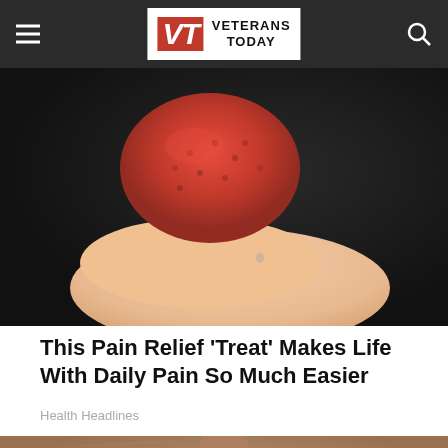VT VETERANS TODAY
[Figure (photo): Close-up of a hand holding a red sugary strawberry-like treat against a dark background]
This Pain Relief 'Treat' Makes Life With Daily Pain So Much Easier
Health Headlines
[Figure (photo): Extreme close-up of wrinkled elderly lips with red lipstick on textured skin]